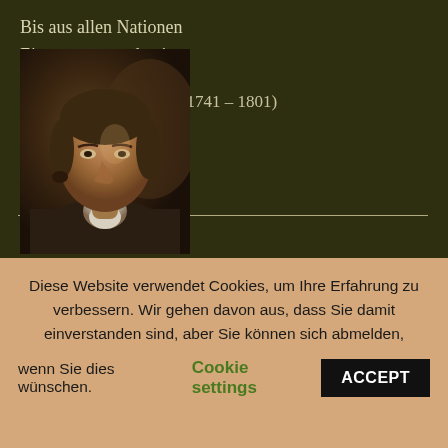Bis aus allen Nationen
Eine nur geworden ist.
Johann Kaspar Lavater (1741 – 1801)
[Figure (photo): Portrait painting of Johann Kaspar Lavater, an 18th-century figure shown from the shoulders up, wearing period clothing with a white collar, painted in dark oil portrait style.]
Diese Website verwendet Cookies, um Ihre Erfahrung zu verbessern. Wir gehen davon aus, dass Sie damit einverstanden sind, aber Sie können sich abmelden, wenn Sie dies wünschen. Cookie settings ACCEPT